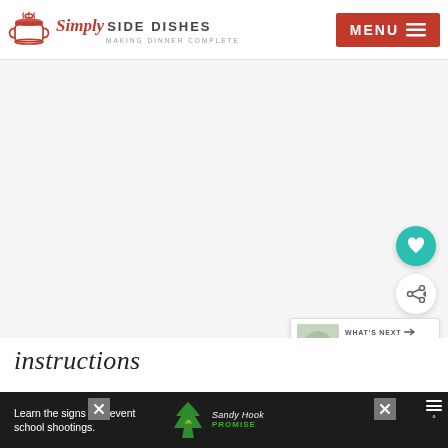Simply SIDE DISHES Making Dinner Complete | MENU
[Figure (photo): Large white/light gray blank image area representing a food photo placeholder on the Simply Side Dishes recipe website]
[Figure (photo): Circular teal heart/save button floating on right side of page]
[Figure (photo): Circular white share button floating on right side of page]
[Figure (screenshot): What's Next widget showing a thumbnail of a Copycat Cheesecake recipe]
instructions
[Figure (screenshot): Dark advertisement banner at bottom with text 'Learn the signs to prevent school shootings.' and Sandy Hook Promise logo, with close button and temperature/weather widget]